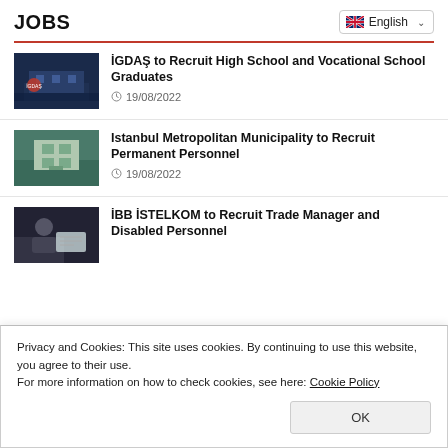JOBS
İGDAŞ to Recruit High School and Vocational School Graduates
19/08/2022
Istanbul Metropolitan Municipality to Recruit Permanent Personnel
19/08/2022
İBB İSTELKOM to Recruit Trade Manager and Disabled Personnel
Privacy and Cookies: This site uses cookies. By continuing to use this website, you agree to their use.
For more information on how to check cookies, see here: Cookie Policy